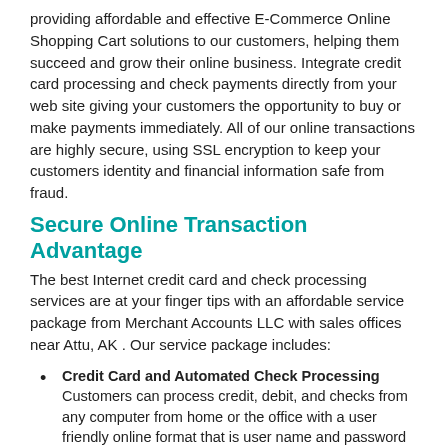providing affordable and effective E-Commerce Online Shopping Cart solutions to our customers, helping them succeed and grow their online business. Integrate credit card processing and check payments directly from your web site giving your customers the opportunity to buy or make payments immediately. All of our online transactions are highly secure, using SSL encryption to keep your customers identity and financial information safe from fraud.
Secure Online Transaction Advantage
The best Internet credit card and check processing services are at your finger tips with an affordable service package from Merchant Accounts LLC with sales offices near Attu, AK . Our service package includes:
Credit Card and Automated Check Processing Customers can process credit, debit, and checks from any computer from home or the office with a user friendly online format that is user name and password protected.
Accepting All Major Credit Cards Customers will enjoy the option of payment by American Express, Visa, Master Card, Discover Card and many more credit purchasing options from your web site.
Accepting Business and Personal Checks For customers